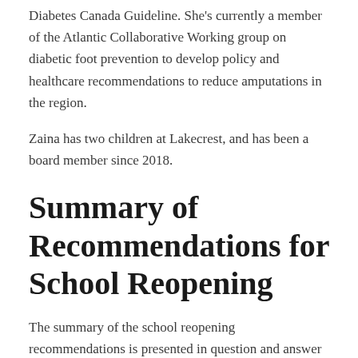Diabetes Canada Guideline. She's currently a member of the Atlantic Collaborative Working group on diabetic foot prevention to develop policy and healthcare recommendations to reduce amputations in the region.
Zaina has two children at Lakecrest, and has been a board member since 2018.
Summary of Recommendations for School Reopening
The summary of the school reopening recommendations is presented in question and answer format to address many of the top questions that parents, teachers, students, and all our stakeholders are asking as we get closer to back-to-school this September. Before going further it is important for us to